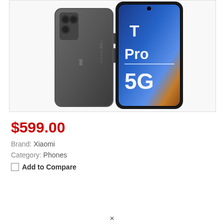[Figure (photo): Product photo of Xiaomi Mi 11T Pro 5G smartphone shown from front and back. The back is dark gray/graphite color with Mi logo and 5G branding. The front shows a blue/orange gradient wallpaper with 'T Pro 5G' text visible on screen.]
$599.00
Brand: Xiaomi
Category: Phones
Add to Compare